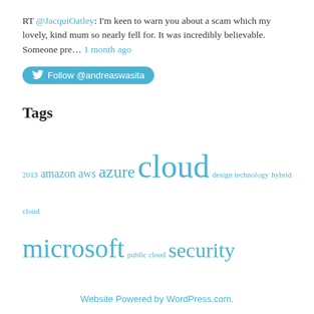RT @JacquiOatley: I'm keen to warn you about a scam which my lovely, kind mum so nearly fell for. It was incredibly believable. Someone pre… 1 month ago
Follow @andreaswasita
Tags
2013 amazon aws azure cloud design technology hybrid cloud microsoft public cloud security
Website Powered by WordPress.com.